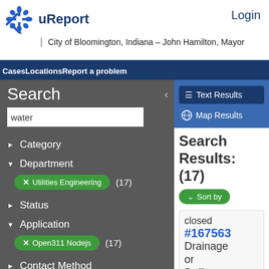uReport  Login
City of Bloomington, Indiana – John Hamilton, Mayor
CasesLocationsReport a problem
Search
water
▶ Category
▼ Department
× Utilities Engineering  (17)
▶ Status
▼ Application
× Open311 Nodejs  (17)
▶ Contact Method
▶ Neighborhood Association
≡ Text Results
🌐 Map Results
Search Results: (17)
∨ Sort by
closed #167563 Drainage or Buff...